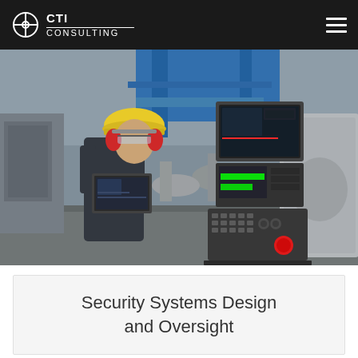CTI CONSULTING
[Figure (photo): Industrial worker wearing yellow hard hat, red ear protectors, and safety glasses operating a laptop computer in front of industrial CNC control panels and screens in a manufacturing facility with blue overhead structural elements]
Security Systems Design and Oversight